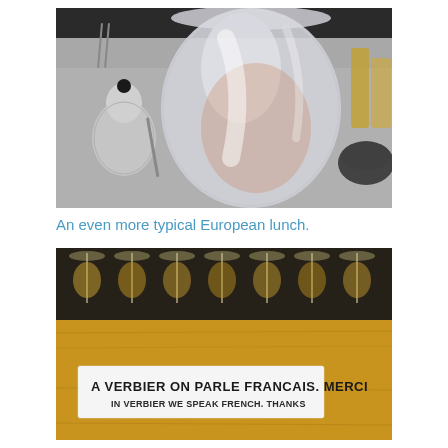[Figure (photo): Close-up photo of a frosted/opaque glass or ice bucket on a restaurant table, with a small silver salt/pepper shaker on the left and other tableware visible in the background.]
An even more typical European lunch.
[Figure (photo): Photo of wine glasses on a wooden bar/table surface. A white label on the wooden front reads: 'A VERBIER ON PARLE FRANCAIS. MERCI' and below 'IN VERBIER WE SPEAK FRENCH. THANKS']